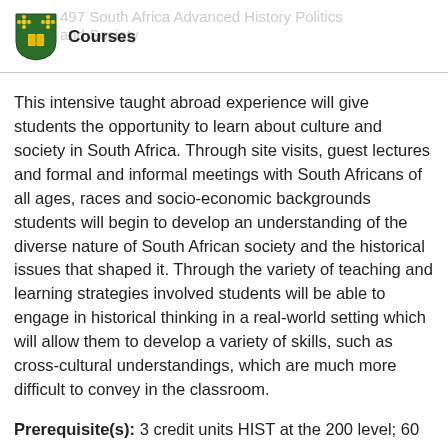Courses
This intensive taught abroad experience will give students the opportunity to learn about culture and society in South Africa. Through site visits, guest lectures and formal and informal meetings with South Africans of all ages, races and socio-economic backgrounds students will begin to develop an understanding of the diverse nature of South African society and the historical issues that shaped it. Through the variety of teaching and learning strategies involved students will be able to engage in historical thinking in a real-world setting which will allow them to develop a variety of skills, such as cross-cultural understandings, which are much more difficult to convey in the classroom.
Prerequisite(s): 3 credit units HIST at the 200 level; 60